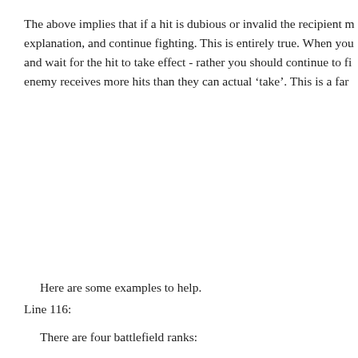The above implies that if a hit is dubious or invalid the recipient m explanation, and continue fighting. This is entirely true. When you and wait for the hit to take effect - rather you should continue to fi enemy receives more hits than they can actual ‘take’. This is a far
Here are some examples to help.
Line 116:
There are four battlefield ranks: